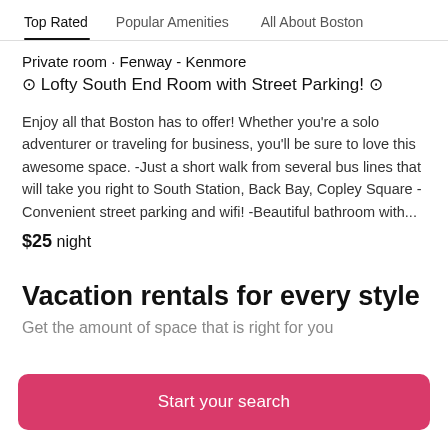Top Rated | Popular Amenities | All About Boston
Private room · Fenway - Kenmore
⊙ Lofty South End Room with Street Parking! ⊙
Enjoy all that Boston has to offer! Whether you're a solo adventurer or traveling for business, you'll be sure to love this awesome space. -Just a short walk from several bus lines that will take you right to South Station, Back Bay, Copley Square - Convenient street parking and wifi! -Beautiful bathroom with...
$25 night
Vacation rentals for every style
Get the amount of space that is right for you
Start your search